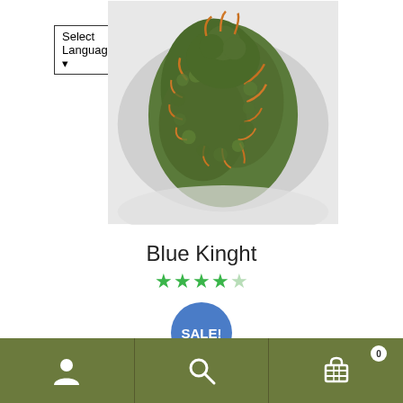Select Language ▾
[Figure (photo): Close-up photo of a cannabis bud (Blue Kinght strain) showing dense green and orange trichomes against a white background]
Blue Kinght
★★★★☆ (4 out of 5 stars rating)
SALE!
$140.00 – $240.00
Select options
Navigation bar with user icon, search icon, and cart icon (0 items)